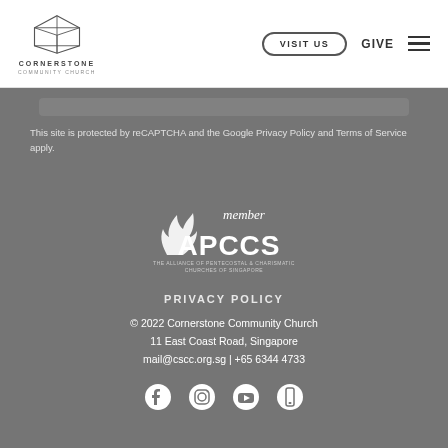[Figure (logo): Cornerstone Community Church logo with geometric box icon and text]
VISIT US
GIVE
This site is protected by reCAPTCHA and the Google Privacy Policy and Terms of Service apply.
[Figure (logo): APCCS member logo - The Alliance of Pentecostal & Charismatic Churches of Singapore]
PRIVACY POLICY
© 2022 Cornerstone Community Church
11 East Coast Road, Singapore
mail@cscc.org.sg | +65 6344 4733
[Figure (other): Social media icons: Facebook, Instagram, YouTube, Mobile/Phone]